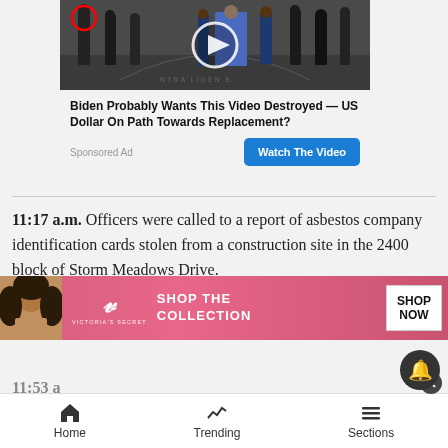[Figure (photo): An advertisement showing people standing in what appears to be the CIA headquarters lobby with the CIA seal on the floor. A red circle highlights someone and there is a play button overlay.]
Biden Probably Wants This Video Destroyed — US Dollar On Path Towards Replacement?
Sponsored Ad
Watch The Video
11:17 a.m. Officers were called to a report of asbestos company identification cards stolen from a construction site in the 2400 block of Storm Meadows Drive.
11:53 a
[Figure (photo): Victoria's Secret advertisement showing a model with curly hair, the VS logo, text SHOP THE COLLECTION and a SHOP NOW button.]
Home   Trending   Sections